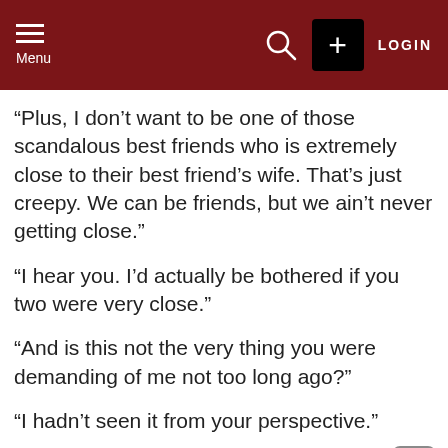Menu | Search | + | LOGIN
“Plus, I don’t want to be one of those scandalous best friends who is extremely close to their best friend’s wife. That’s just creepy. We can be friends, but we ain’t never getting close.”
“I hear you. I’d actually be bothered if you two were very close.”
“And is this not the very thing you were demanding of me not too long ago?”
“I hadn’t seen it from your perspective.”
“Well, that clears it up, I hope.”